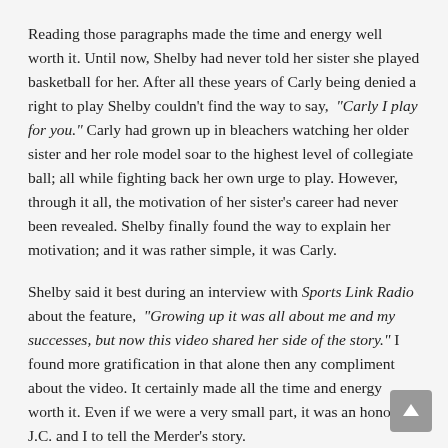Reading those paragraphs made the time and energy well worth it. Until now, Shelby had never told her sister she played basketball for her. After all these years of Carly being denied a right to play Shelby couldn't find the way to say, "Carly I play for you." Carly had grown up in bleachers watching her older sister and her role model soar to the highest level of collegiate ball; all while fighting back her own urge to play. However, through it all, the motivation of her sister's career had never been revealed. Shelby finally found the way to explain her motivation; and it was rather simple, it was Carly.
Shelby said it best during an interview with Sports Link Radio about the feature, "Growing up it was all about me and my successes, but now this video shared her side of the story." I found more gratification in that alone then any compliment about the video. It certainly made all the time and energy worth it. Even if we were a very small part, it was an honor for J.C. and I to tell the Merder's story.